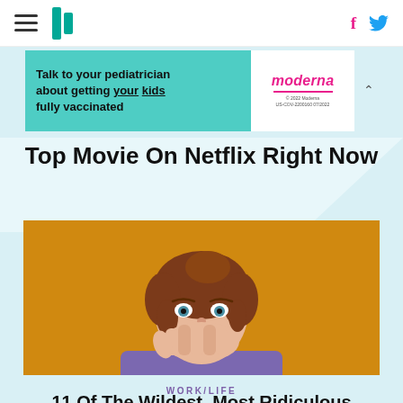HuffPost navigation with hamburger menu, HuffPost logo, Facebook and Twitter icons
[Figure (screenshot): Advertisement banner: 'Talk to your pediatrician about getting your kids fully vaccinated' with Moderna logo and fine print]
Top Movie On Netflix Right Now
[Figure (photo): Young woman with auburn hair in updo, wearing purple t-shirt, covering mouth with hand in surprised expression, against orange/golden background]
WORK/LIFE
11 Of The Wildest, Most Ridiculous Requests